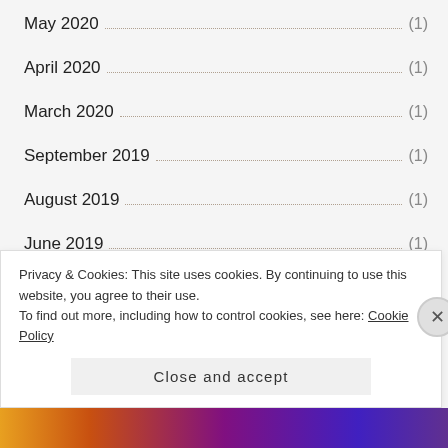May 2020 (1)
April 2020 (1)
March 2020 (1)
September 2019 (1)
August 2019 (1)
June 2019 (1)
April 2019 (1)
Privacy & Cookies: This site uses cookies. By continuing to use this website, you agree to their use. To find out more, including how to control cookies, see here: Cookie Policy
Close and accept